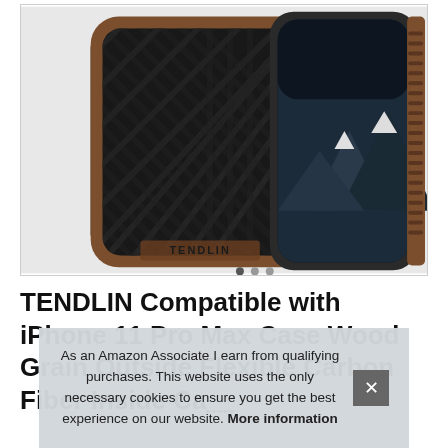[Figure (photo): Product photo of a TENDLIN iPhone case with black carbon fiber texture on the back and wooden (walnut) trim around the edges. Two cases/views are shown overlapping, one with the back visible showing the TENDLIN logo, and one showing the front with a mountain wallpaper on screen.]
TENDLIN Compatible with iPhone 11 Pro Max Case Wood Grain Outside Flexible Carbon Fiber Inside Ca...
As an Amazon Associate I earn from qualifying purchases. This website uses the only necessary cookies to ensure you get the best experience on our website. More information